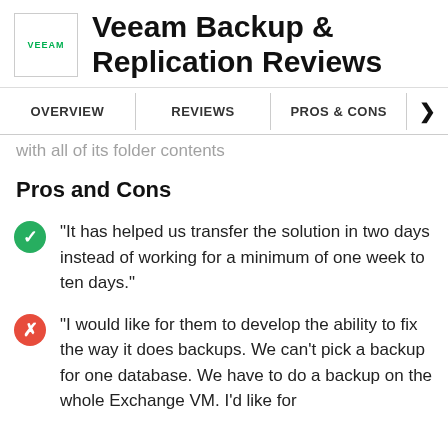Veeam Backup & Replication Reviews
OVERVIEW | REVIEWS | PROS & CONS
with all of its folder contents
Pros and Cons
"It has helped us transfer the solution in two days instead of working for a minimum of one week to ten days."
"I would like for them to develop the ability to fix the way it does backups. We can't pick a backup for one database. We have to do a backup on the whole Exchange VM. I'd like for